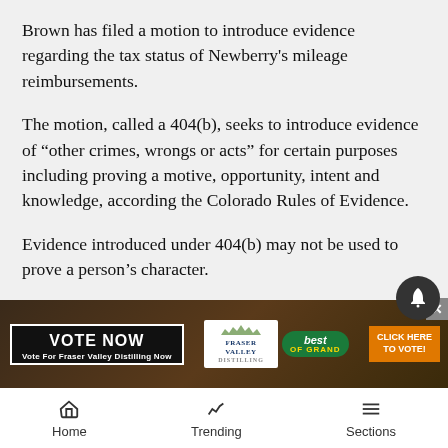Brown has filed a motion to introduce evidence regarding the tax status of Newberry's mileage reimbursements.
The motion, called a 404(b), seeks to introduce evidence of “other crimes, wrongs or acts” for certain purposes including proving a motive, opportunity, intent and knowledge, according the Colorado Rules of Evidence.
Evidence introduced under 404(b) may not be used to prove a person’s character.
The prosecution consulted special agents with both the Colorado Department of Revenue and the Internal Revenue [Service, who determined the reimbursements were in excess of ... and]
[Figure (screenshot): Advertisement banner for Fraser Valley Distilling with 'Vote Now' button and 'Click Here to Vote!' call to action, overlaid on the article content.]
Home   Trending   Sections